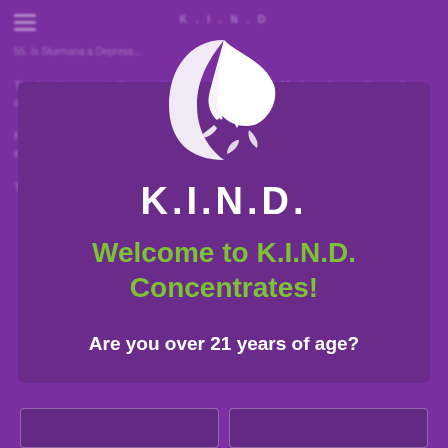[Figure (logo): K.I.N.D. Concentrates logo — white stylized figure with cannabis leaf wings on purple background, with text K.I.N.D. below]
Welcome to K.I.N.D. Concentrates!
Are you over 21 years of age?